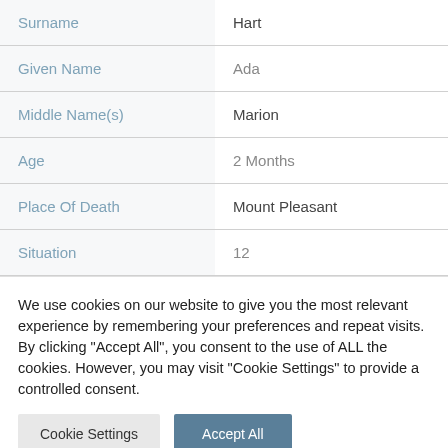| Field | Value |
| --- | --- |
| Surname | Hart |
| Given Name | Ada |
| Middle Name(s) | Marion |
| Age | 2 Months |
| Place Of Death | Mount Pleasant |
| Situation | 12 |
We use cookies on our website to give you the most relevant experience by remembering your preferences and repeat visits. By clicking "Accept All", you consent to the use of ALL the cookies. However, you may visit "Cookie Settings" to provide a controlled consent.